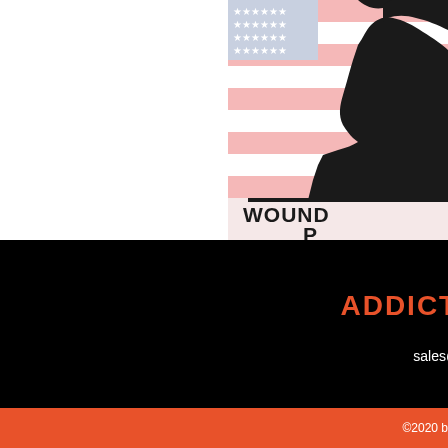[Figure (illustration): Partial view of a logo with American flag stripes (red/pink and white) in the background, a black silhouette of a soldier, and bold text reading 'WOUND' and 'P' below it — cropped at the right edge of the page]
ADDICTI
sales@a
Fr
©2020 b